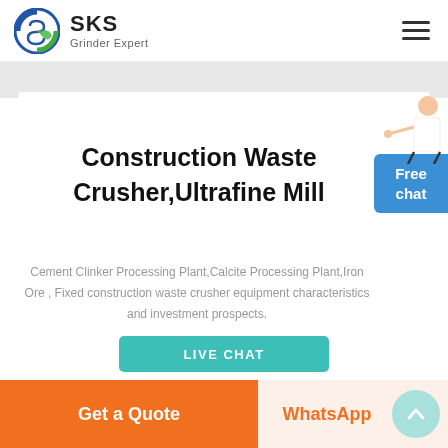[Figure (logo): SKS Grinder Expert logo — circular emblem with S-shape design in blue/green, next to bold text 'SKS' and subtitle 'Grinder Expert']
Construction Waste Crusher,Ultrafine Mill
Cement Clinker Processing Plant,Calcite Processing Plant,Iron Ore , Fixed construction waste crusher equipment characteristics and investment prospects.
LIVE CHAT
Get a Quote
WhatsApp